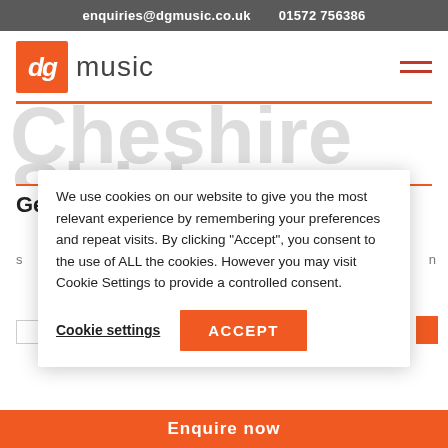enquiries@dgmusic.co.uk    01572 756386
[Figure (logo): dg music logo — orange square with 'dg' in white italic text, followed by 'music' in grey]
Cheshire
Get the latest news
We use cookies on our website to give you the most relevant experience by remembering your preferences and repeat visits. By clicking "Accept", you consent to the use of ALL the cookies. However you may visit Cookie Settings to provide a controlled consent.
Cookie settings    ACCEPT
Enquire now